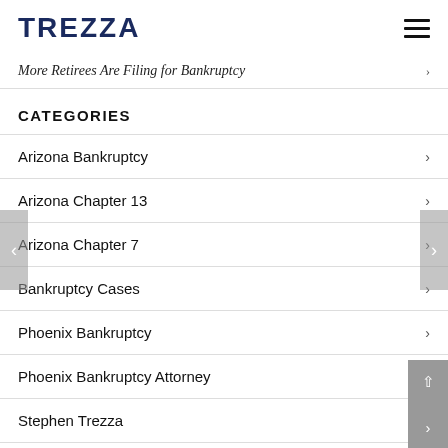TREZZA
More Retirees Are Filing for Bankruptcy
CATEGORIES
Arizona Bankruptcy
Arizona Chapter 13
Arizona Chapter 7
Bankruptcy Cases
Phoenix Bankruptcy
Phoenix Bankruptcy Attorney
Stephen Trezza